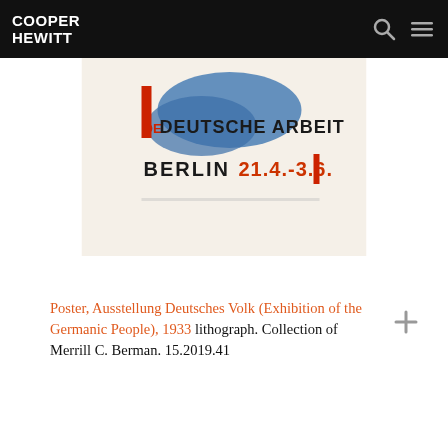COOPER HEWITT
[Figure (photo): Partial view of a vintage German exhibition poster showing text 'DE DEUTSCHE ARBEIT' and 'BERLIN 21.4.-3.6.' with blue graphic elements on a cream background.]
Poster, Ausstellung Deutsches Volk (Exhibition of the Germanic People), 1933 lithograph. Collection of Merrill C. Berman. 15.2019.41